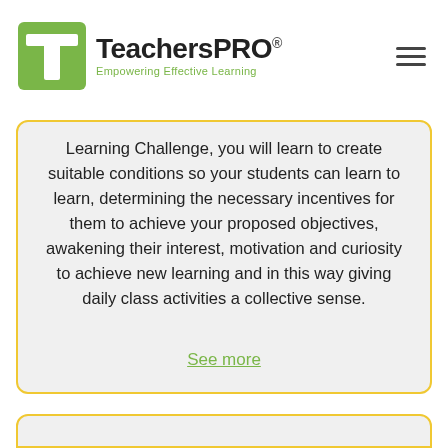TeachersPRO® — Empowering Effective Learning
Learning Challenge, you will learn to create suitable conditions so your students can learn to learn, determining the necessary incentives for them to achieve your proposed objectives, awakening their interest, motivation and curiosity to achieve new learning and in this way giving daily class activities a collective sense.
See more